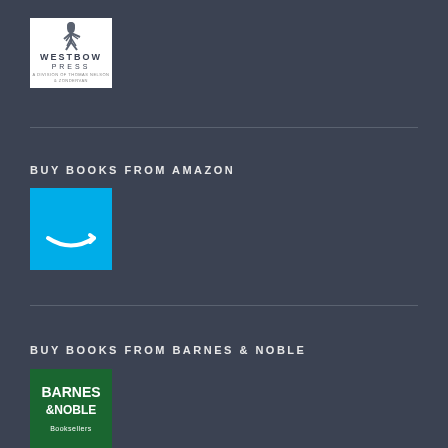[Figure (logo): WestBow Press logo - white background with figure of person jumping, text reading WESTBOW PRESS A DIVISION OF THOMAS NELSON & ZONDERVAN]
BUY BOOKS FROM AMAZON
[Figure (logo): Amazon logo - blue square background with white smile/arrow graphic]
BUY BOOKS FROM BARNES & NOBLE
[Figure (logo): Barnes & Noble logo - green square background with white text reading BARNES & NOBLE]